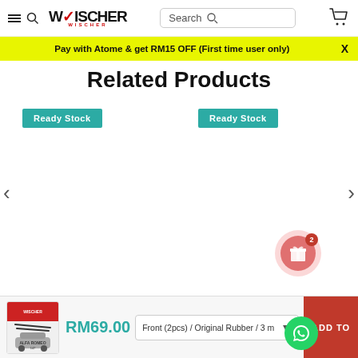WISCHER — Search bar and cart navigation
Pay with Atome & get RM15 OFF (First time user only)
Related Products
[Figure (other): Two product cards with Ready Stock badges, left and right navigation arrows, and a gift/reward button with badge count 2]
[Figure (other): Bottom bar with product thumbnail (Alfa Romeo wiper product), price RM69.00, dropdown selector 'Front (2pcs) / Original Rubber / 3 m...', ADD TO button, and WhatsApp button]